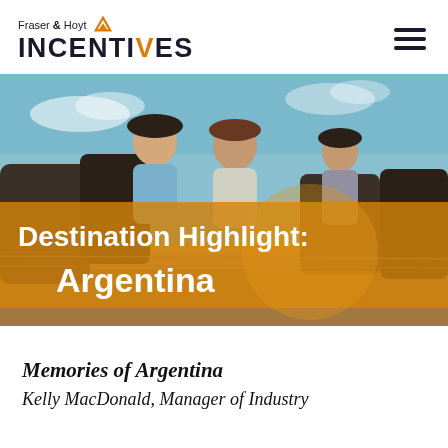Fraser & Hoyt INCENTIVES
[Figure (photo): Three people wearing hats on horseback in a rural Argentine setting with blue sky background. Overlaid with orange semi-transparent band containing destination title text.]
Destination Highlight: Argentina
Memories of Argentina
Kelly MacDonald, Manager of Industry